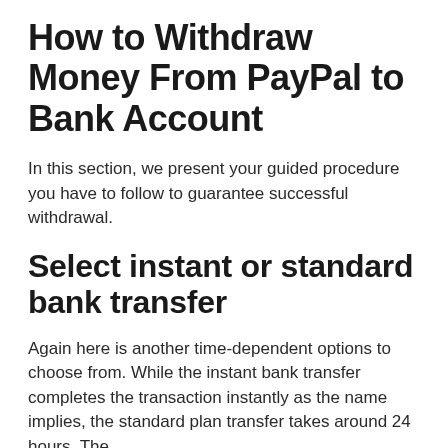How to Withdraw Money From PayPal to Bank Account
In this section, we present your guided procedure you have to follow to guarantee successful withdrawal.
Select instant or standard bank transfer
Again here is another time-dependent options to choose from. While the instant bank transfer completes the transaction instantly as the name implies, the standard plan transfer takes around 24 hours. The